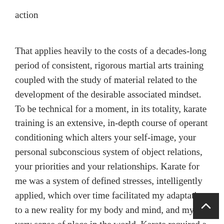action
That applies heavily to the costs of a decades-long period of consistent, rigorous martial arts training coupled with the study of material related to the development of the desirable associated mindset. To be technical for a moment, in its totality, karate training is an extensive, in-depth course of operant conditioning which alters your self-image, your personal subconscious system of object relations, your priorities and your relationships. Karate for me was a system of defined stresses, intelligently applied, which over time facilitated my adaptation to a new reality for my body and mind, and my very sense of place in the world. Karate required a serious commitment. It was a